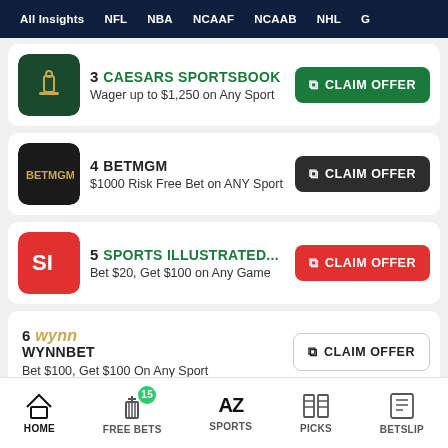All Insights | NFL | NBA | NCAAF | NCAAB | NHL | G
3 CAESARS SPORTSBOOK — Wager up to $1,250 on Any Sport — CLAIM OFFER
4 BETMGM — $1000 Risk Free Bet on ANY Sport — CLAIM OFFER
5 SPORTS ILLUSTRATED... — Bet $20, Get $100 on Any Game — CLAIM OFFER
6 WYNNBET — Bet $100, Get $100 On Any Sport — CLAIM OFFER
7 BETRIVERS — 100% Deposit Match — CLAIM OFFER
View More
HOME | FREE BETS 15 | SPORTS AZ | PICKS | BETSLIP